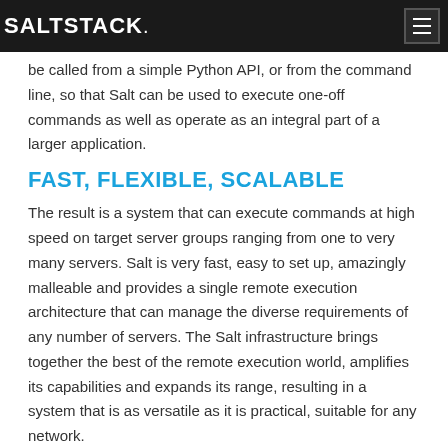SALTSTACK.
be called from a simple Python API, or from the command line, so that Salt can be used to execute one-off commands as well as operate as an integral part of a larger application.
FAST, FLEXIBLE, SCALABLE
The result is a system that can execute commands at high speed on target server groups ranging from one to very many servers. Salt is very fast, easy to set up, amazingly malleable and provides a single remote execution architecture that can manage the diverse requirements of any number of servers. The Salt infrastructure brings together the best of the remote execution world, amplifies its capabilities and expands its range, resulting in a system that is as versatile as it is practical, suitable for any network.